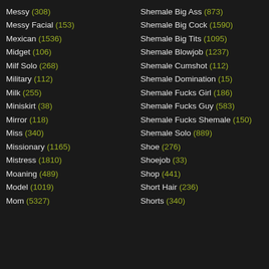Messy (308)
Messy Facial (153)
Mexican (1536)
Midget (106)
Milf Solo (268)
Military (112)
Milk (255)
Miniskirt (38)
Mirror (118)
Miss (340)
Missionary (1165)
Mistress (1810)
Moaning (489)
Model (1019)
Mom (5327)
Shemale Big Ass (873)
Shemale Big Cock (1590)
Shemale Big Tits (1095)
Shemale Blowjob (1237)
Shemale Cumshot (112)
Shemale Domination (15)
Shemale Fucks Girl (186)
Shemale Fucks Guy (583)
Shemale Fucks Shemale (150)
Shemale Solo (889)
Shoe (276)
Shoejob (33)
Shop (441)
Short Hair (236)
Shorts (340)